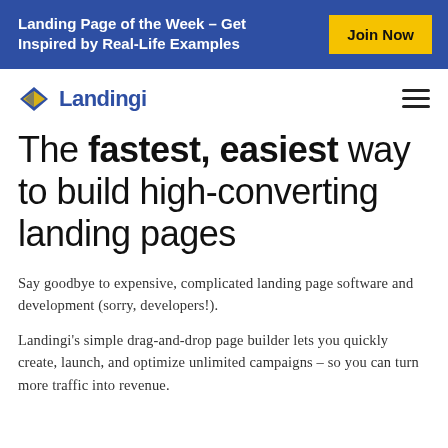Landing Page of the Week – Get Inspired by Real-Life Examples
[Figure (logo): Landingi logo with blue diamond arrow icon and blue text]
The fastest, easiest way to build high-converting landing pages
Say goodbye to expensive, complicated landing page software and development (sorry, developers!).
Landingi's simple drag-and-drop page builder lets you quickly create, launch, and optimize unlimited campaigns – so you can turn more traffic into revenue.